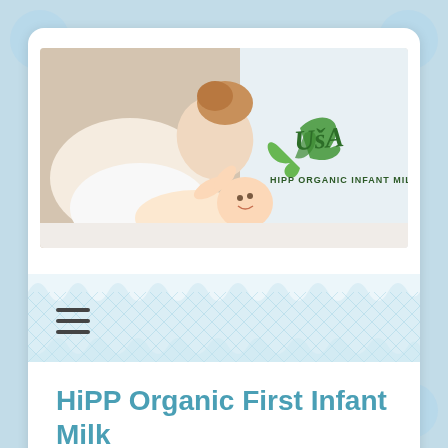[Figure (photo): Banner image showing a mother leaning over and kissing a baby lying on a white surface. On the right side of the banner is the USA HiPP Organic Infant Milk Formulas logo with green leaf design and cursive 'USA' text.]
[Figure (other): Hamburger/menu icon with three horizontal lines]
HiPP Organic First Infant Milk Stage 1